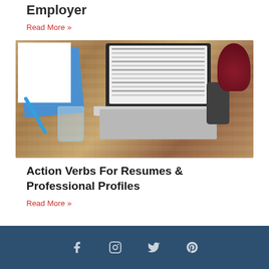Employer
Read More »
[Figure (photo): Overhead view of a laptop computer open to a document, with a blue notebook, pen, glass of water, smartphone, and red plant on a wooden desk]
Action Verbs For Resumes & Professional Profiles
Read More »
Social media icons: Facebook, Instagram, Twitter, Pinterest